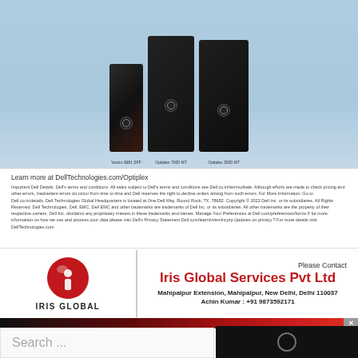[Figure (photo): Three Dell desktop computers (Vostro 3681 SFF, Optiplex 7000 MT, Optiplex 3000 MT) displayed against a light blue background]
Learn more at DellTechnologies.com/Optiplex
Important Dell Details: Dell's terms and conditions: All sales subject to Dell's terms and conditions see Dell.co.in/termsofale. Although efforts are made to check pricing and other errors, inadvertent errors do occur from time to time and Dell reserves the right to decline orders arising from such errors. For More Information: Go to Dell.co.in/details. Dell Technologies Global Headquarters is located at One Dell Way, Round Rock, TX, 78682. Copyright © 2022 Dell Inc. or its subsidiaries. All Rights Reserved. Dell Technologies, Dell, EMC, Dell EMC and other trademarks are trademarks of Dell Inc. or its subsidiaries. All other trademarks are the property of their respective owners. Dell Inc. disclaims any proprietary interest in these trademarks and names. Manage Your Preferences at Dell.com/preferences/forms If for more information on how we use and process your data please visit Dell's Privacy Statement Dell.com/learn/in/en/incorp Updates on privacy.? For more details visit DellTechnologies.com
[Figure (logo): Iris Global red globe logo with white 'i' letter]
IRIS GLOBAL
Please Contact
Iris Global Services Pvt Ltd
Mahipalpur Extension, Mahipalpur, New Delhi, Delhi 110037
Achin Kumar : +91 9873592171
[Figure (other): Gradient bar and dark video player overlay with close button]
Search ...